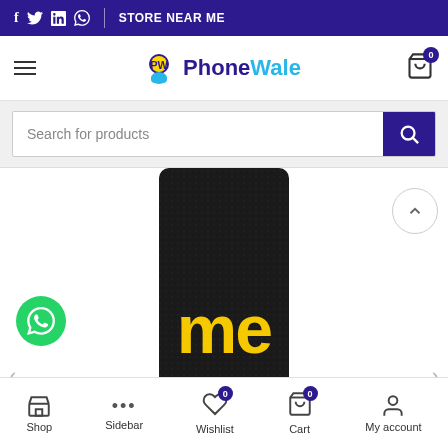f  in  WhatsApp | STORE NEAR ME
[Figure (logo): PhoneWale logo with mascot character, navigation hamburger menu, and shopping cart icon with badge 0]
[Figure (screenshot): Search bar with 'Search for products' placeholder and dark purple search button with magnifying glass icon]
[Figure (photo): Black power bank / phone with yellow 'me' branding (Realme branded device), partially cropped. WhatsApp chat button on left, navigation arrows on sides.]
Shop | Sidebar | Wishlist 0 | Cart 0 | My account